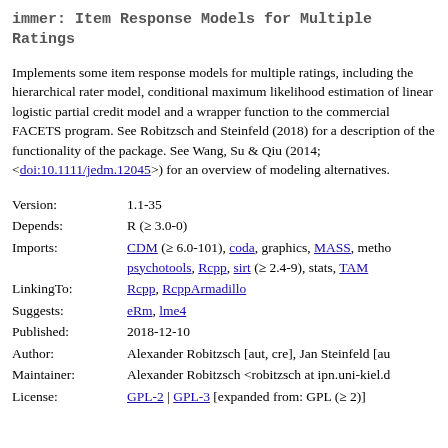immer: Item Response Models for Multiple Ratings
Implements some item response models for multiple ratings, including the hierarchical rater model, conditional maximum likelihood estimation of linear logistic partial credit model and a wrapper function to the commercial FACETS program. See Robitzsch and Steinfeld (2018) for a description of the functionality of the package. See Wang, Su & Qiu (2014; <doi:10.1111/jedm.12045>) for an overview of modeling alternatives.
| Field | Value |
| --- | --- |
| Version: | 1.1-35 |
| Depends: | R (≥ 3.0-0) |
| Imports: | CDM (≥ 6.0-101), coda, graphics, MASS, methods, psychotools, Rcpp, sirt (≥ 2.4-9), stats, TAM |
| LinkingTo: | Rcpp, RcppArmadillo |
| Suggests: | eRm, lme4 |
| Published: | 2018-12-10 |
| Author: | Alexander Robitzsch [aut, cre], Jan Steinfeld [au... |
| Maintainer: | Alexander Robitzsch <robitzsch at ipn.uni-kiel.d... |
| License: | GPL-2 | GPL-3 [expanded from: GPL (≥ 2)] |